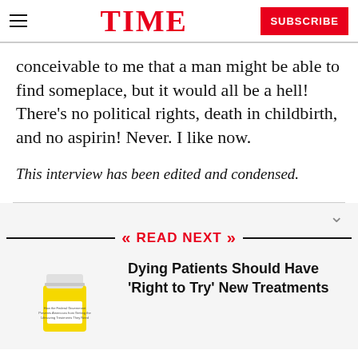TIME
conceivable to me that a man might be able to find someplace, but it would all be a hell! There's no political rights, death in childbirth, and no aspirin! Never. I like now.
This interview has been edited and condensed.
READ NEXT
[Figure (photo): Pill bottle image for article thumbnail]
Dying Patients Should Have 'Right to Try' New Treatments